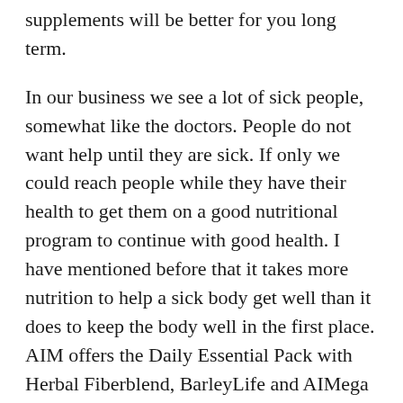supplements will be better for you long term.
In our business we see a lot of sick people, somewhat like the doctors. People do not want help until they are sick. If only we could reach people while they have their health to get them on a good nutritional program to continue with good health. I have mentioned before that it takes more nutrition to help a sick body get well than it does to keep the body well in the first place. AIM offers the Daily Essential Pack with Herbal Fiberblend, BarleyLife and AIMega for $100.00 US. A great way to begin a path way to good health. AIM also carries a
20 oz. Blender Bottle for $7.00 It is an excellent way to mix your powders. The code number is